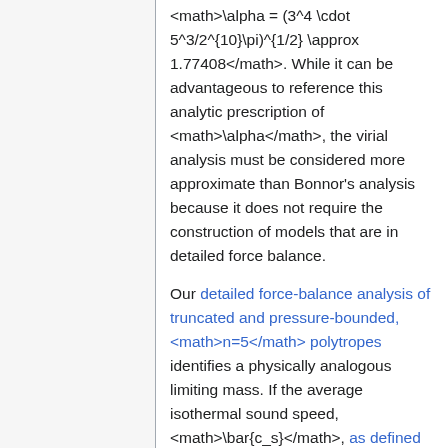<math>\alpha = (3^4 \cdot 5^3/2^{10}\pi)^{1/2} \approx 1.77408</math>. While it can be advantageous to reference this analytic prescription of <math>\alpha</math>, the virial analysis must be considered more approximate than Bonnor's analysis because it does not require the construction of models that are in detailed force balance.
Our detailed force-balance analysis of truncated and pressure-bounded, <math>n=5</math> polytropes identifies a physically analogous limiting mass. If the average isothermal sound speed, <math>\bar{c_s}</math>, as defined elsewhere, is used in place of <math>c_s</math>, the mathematical expression for <math>M_\mathrm{max}</math> has exactly the same form as in